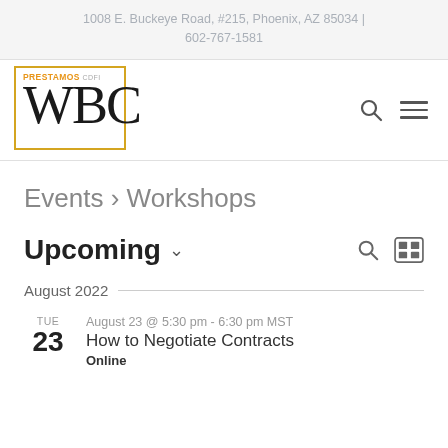1008 E. Buckeye Road, #215, Phoenix, AZ 85034 | 602-767-1581
[Figure (logo): Prestamos CDFI WBC logo in script font with orange border and orange PRESTAMOS CDFI text]
Events › Workshops
Upcoming
August 2022
TUE 23 August 23 @ 5:30 pm - 6:30 pm MST How to Negotiate Contracts Online